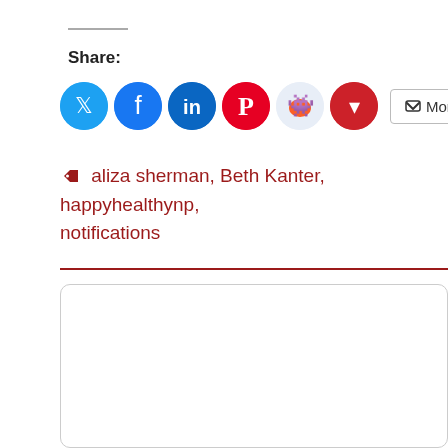Share:
[Figure (infographic): Row of social media share buttons: Twitter (blue circle), Facebook (blue circle), LinkedIn (dark blue circle), Pinterest (red circle), Reddit (light blue circle), Pocket (red circle), and a More button with share icon]
aliza sherman, Beth Kanter, happyhealthynp, notifications